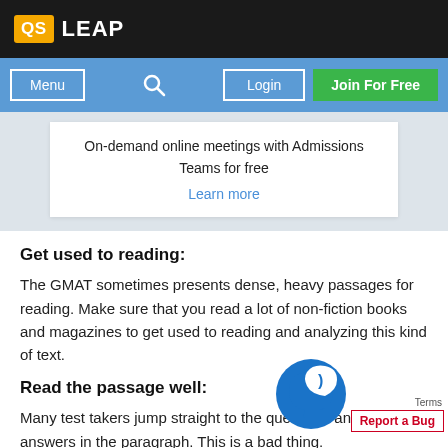[Figure (screenshot): QS LEAP website header with black background showing QS logo in orange and LEAP text in white]
[Figure (screenshot): Blue navigation bar with Menu button, search icon, Login button, and green Join For Free button]
On-demand online meetings with Admissions Teams for free
Learn more
Get used to reading:
The GMAT sometimes presents dense, heavy passages for reading. Make sure that you read a lot of non-fiction books and magazines to get used to reading and analyzing this kind of text.
Read the passage well:
Many test takers jump straight to the questions and search answers in the paragraph. This is a bad thing.